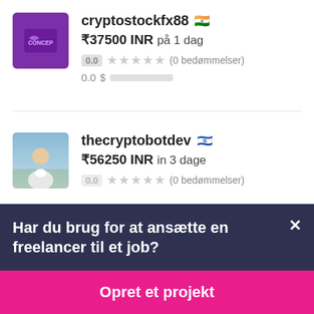cryptostockfx88 🇮🇳
₹37500 INR på 1 dag
0.0 ★★★★★ (0 bedømmelser)
0.0 $
thecryptobotdev 🇮🇱
₹56250 INR in 3 dage
(0 bedømmelser)
Har du brug for at ansætte en freelancer til et job?
Opret et projekt